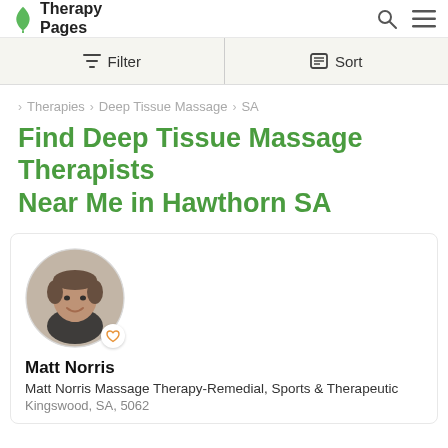Therapy Pages
Filter | Sort
> Therapies > Deep Tissue Massage > SA
Find Deep Tissue Massage Therapists Near Me in Hawthorn SA
[Figure (photo): Circular profile photo of Matt Norris, a man smiling, with a heart/favorite icon overlay at bottom right]
Matt Norris
Matt Norris Massage Therapy-Remedial, Sports & Therapeutic
Kingswood, SA, 5062